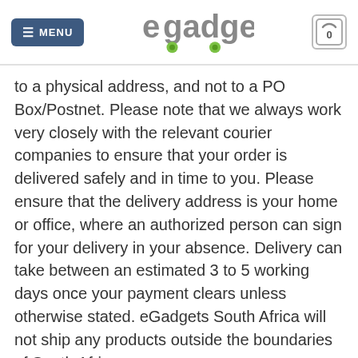MENU | egadgets | 0
to a physical address, and not to a PO Box/Postnet. Please note that we always work very closely with the relevant courier companies to ensure that your order is delivered safely and in time to you. Please ensure that the delivery address is your home or office, where an authorized person can sign for your delivery in your absence. Delivery can take between an estimated 3 to 5 working days once your payment clears unless otherwise stated. eGadgets South Africa will not ship any products outside the boundaries of South Africa.
[Figure (screenshot): Product thumbnail image (charger/cable)]
R200.00 Price incl. VAT
Purchase this product now and earn 200 Points!